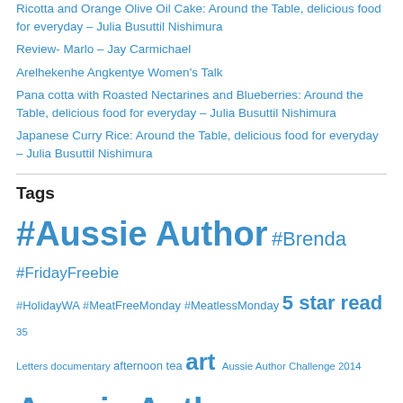Ricotta and Orange Olive Oil Cake: Around the Table, delicious food for everyday – Julia Busuttil Nishimura
Review- Marlo – Jay Carmichael
Arelhekenhe Angkentye Women's Talk
Pana cotta with Roasted Nectarines and Blueberries: Around the Table, delicious food for everyday – Julia Busuttil Nishimura
Japanese Curry Rice: Around the Table, delicious food for everyday – Julia Busuttil Nishimura
Tags
#Aussie Author #Brenda #FridayFreebie #HolidayWA #MeatFreeMonday #MeatlessMonday 5 star read 35 Letters documentary afternoon tea art Aussie Author Challenge 2014 Aussie Author Challenge 2015 Aussie Author Challenge 2016